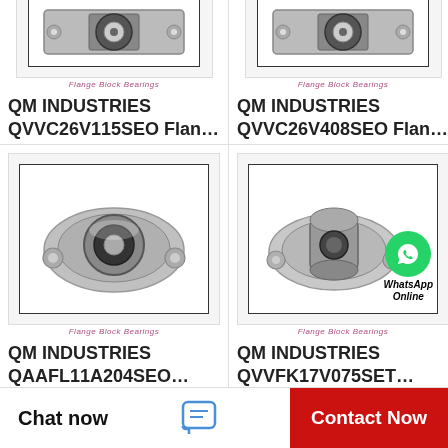[Figure (photo): Flange block bearing photo (cropped top) - QM INDUSTRIES QVVC26V115SEO]
Flange Block Bearings
QM INDUSTRIES QVVC26V115SEO Flan…
[Figure (photo): Flange block bearing photo (cropped top) - QM INDUSTRIES QVVC26V408SEO]
Flange Block Bearings
QM INDUSTRIES QVVC26V408SEO Flan…
[Figure (photo): Flange block bearing photo - QM INDUSTRIES QAAFL11A204SEO, two-bolt oval flange bearing, silver/metallic]
Flange Block Bearings
QM INDUSTRIES QAAFL11A204SEO…
[Figure (photo): Flange block bearing photo with WhatsApp Online overlay - QM INDUSTRIES QVVFK17V075SET]
Flange Block Bearings
QM INDUSTRIES QVVFK17V075SET…
Chat now
Contact Now